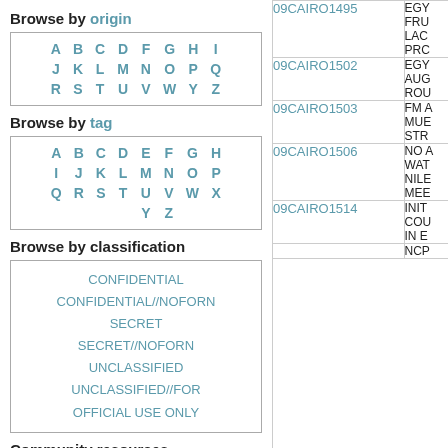Browse by origin
| A | B | C | D | F | G | H | I |
| J | K | L | M | N | O | P | Q |
| R | S | T | U | V | W | Y | Z |
Browse by tag
| A | B | C | D | E | F | G | H |
| I | J | K | L | M | N | O | P |
| Q | R | S | T | U | V | W | X |
|  |  |  | Y | Z |  |  |  |
Browse by classification
| CONFIDENTIAL |
| CONFIDENTIAL//NOFORN |
| SECRET |
| SECRET//NOFORN |
| UNCLASSIFIED |
| UNCLASSIFIED//FOR |
| OFFICIAL USE ONLY |
Community resources
| Follow us on Twitter |
| Check our Reddit |
| Cable ID | Tags |
| --- | --- |
| 09CAIRO1495 | EGY FRU LAC PRC |
| 09CAIRO1502 | EGY AUG ROU |
| 09CAIRO1503 | FM A MUE STR |
| 09CAIRO1506 | NO A WAT NILE MEE |
| 09CAIRO1514 | INIT COU IN E |
|  | NCP |